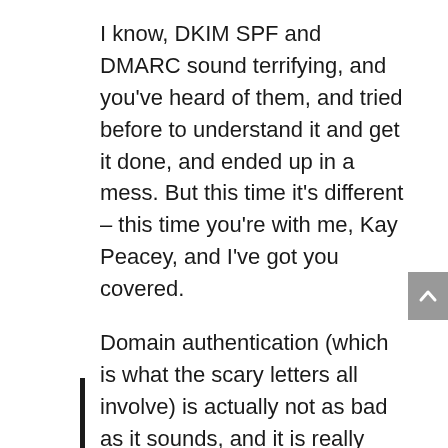I know, DKIM SPF and DMARC sound terrifying, and you've heard of them, and tried before to understand it and get it done, and ended up in a mess. But this time it's different – this time you're with me, Kay Peacey, and I've got you covered.
Domain authentication (which is what the scary letters all involve) is actually not as bad as it sounds, and it is really important for helping your ActiveCampaign eamils get to the inbox.